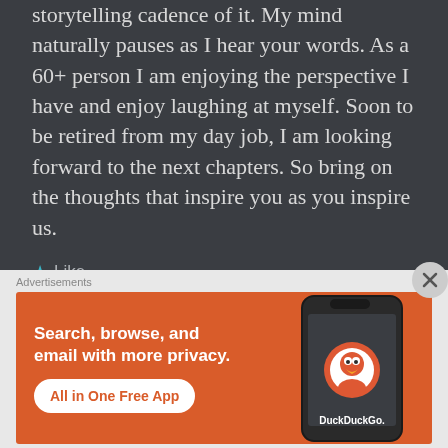storytelling cadence of it. My mind naturally pauses as I hear your words. As a 60+ person I am enjoying the perspective I have and enjoy laughing at myself. Soon to be retired from my day job, I am looking forward to the next chapters. So bring on the thoughts that inspire you as you inspire us.
★ Like
[Figure (screenshot): DuckDuckGo advertisement banner. Orange background with white bold text: 'Search, browse, and email with more privacy.' White rounded button with orange text: 'All in One Free App'. Right side shows a smartphone with DuckDuckGo app logo and 'DuckDuckGo.' text.]